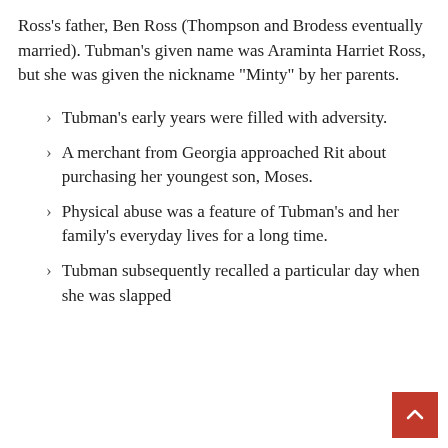Ross's father, Ben Ross (Thompson and Brodess eventually married). Tubman's given name was Araminta Harriet Ross, but she was given the nickname “Minty” by her parents.
Tubman’s early years were filled with adversity.
A merchant from Georgia approached Rit about purchasing her youngest son, Moses.
Physical abuse was a feature of Tubman’s and her family’s everyday lives for a long time.
Tubman subsequently recalled a particular day when she was slapped